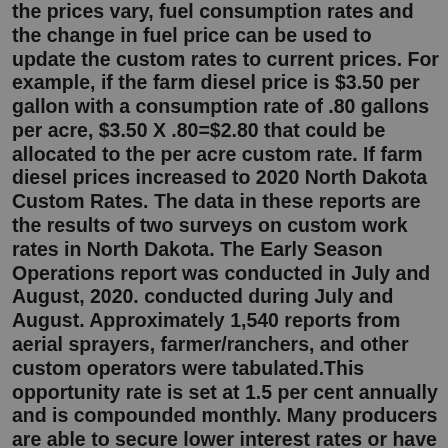the prices vary, fuel consumption rates and the change in fuel price can be used to update the custom rates to current prices. For example, if the farm diesel price is $3.50 per gallon with a consumption rate of .80 gallons per acre, $3.50 X .80=$2.80 that could be allocated to the per acre custom rate. If farm diesel prices increased to 2020 North Dakota Custom Rates. The data in these reports are the results of two surveys on custom work rates in North Dakota. The Early Season Operations report was conducted in July and August, 2020. conducted during July and August. Approximately 1,540 reports from aerial sprayers, farmer/ranchers, and other custom operators were tabulated.This opportunity rate is set at 1.5 per cent annually and is compounded monthly. Many producers are able to secure lower interest rates or have different payback schedules. These parameters can be accommodated in the online calculator that allows producers to enter user-specific information to generate more accurate rental and